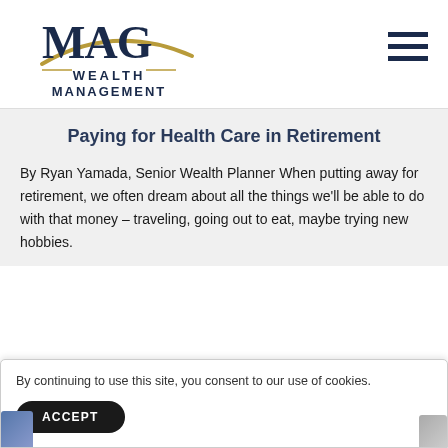[Figure (logo): MAG Wealth Management logo with gold arc/swoosh above navy blue text]
Paying for Health Care in Retirement
By Ryan Yamada, Senior Wealth Planner When putting away for retirement, we often dream about all the things we'll be able to do with that money – traveling, going out to eat, maybe trying new hobbies.
By continuing to use this site, you consent to our use of cookies.